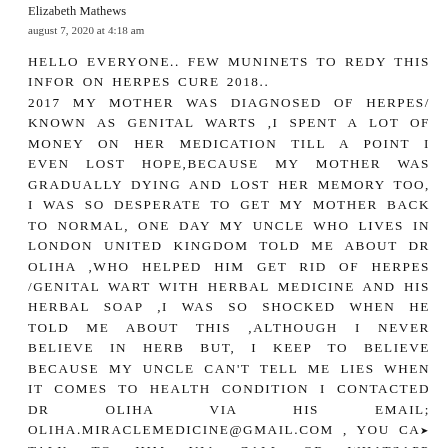Elizabeth Mathews
august 7, 2020 at 4:18 am
HELLO EVERYONE.. FEW MUNINETS TO REDY THIS INFOR ON HERPES CURE 2018.. 2017 MY MOTHER WAS DIAGNOSED OF HERPES/ KNOWN AS GENITAL WARTS ,I SPENT A LOT OF MONEY ON HER MEDICATION TILL A POINT I EVEN LOST HOPE,BECAUSE MY MOTHER WAS GRADUALLY DYING AND LOST HER MEMORY TOO, I WAS SO DESPERATE TO GET MY MOTHER BACK TO NORMAL, ONE DAY MY UNCLE WHO LIVES IN LONDON UNITED KINGDOM TOLD ME ABOUT DR OLIHA ,WHO HELPED HIM GET RID OF HERPES /GENITAL WART WITH HERBAL MEDICINE AND HIS HERBAL SOAP ,I WAS SO SHOCKED WHEN HE TOLD ME ABOUT THIS ,ALTHOUGH I NEVER BELIEVE IN HERB BUT, I KEEP TO BELIEVE BECAUSE MY UNCLE CAN'T TELL ME LIES WHEN IT COMES TO HEALTH CONDITION I CONTACTED DR OLIHA VIA HIS EMAIL; OLIHA.MIRACLEMEDICINE@GMAIL.COM , YOU CAN TALK TO HIM VIA CALL OR WHATSAPP MESSENGER ON